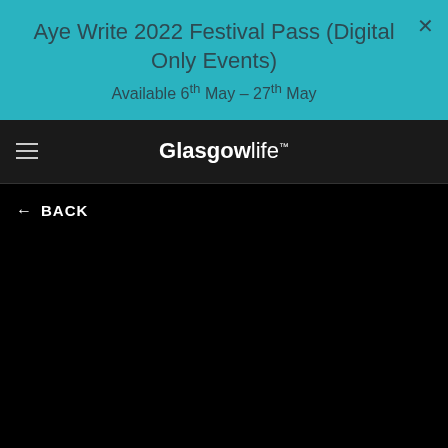Aye Write 2022 Festival Pass (Digital Only Events)
Available 6th May – 27th May
GlasgowLife™
← BACK